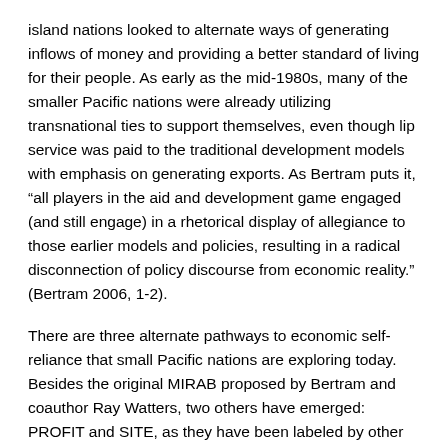island nations looked to alternate ways of generating inflows of money and providing a better standard of living for their people. As early as the mid-1980s, many of the smaller Pacific nations were already utilizing transnational ties to support themselves, even though lip service was paid to the traditional development models with emphasis on generating exports. As Bertram puts it, “all players in the aid and development game engaged (and still engage) in a rhetorical display of allegiance to those earlier models and policies, resulting in a radical disconnection of policy discourse from economic reality.” (Bertram 2006, 1-2).
There are three alternate pathways to economic self-reliance that small Pacific nations are exploring today. Besides the original MIRAB proposed by Bertram and coauthor Ray Watters, two others have emerged: PROFIT and SITE, as they have been labeled by other authors (Bertram 2006, 5-6). PROFIT (named for its emphasis on people considerations, resource management, overseas engagement, finance, and transportation) focuses largely on tax havens, offshore banking, and licensing and other services to foreign governments and industries. SITE (small-island tourist economy) relies on the same type of tourist development